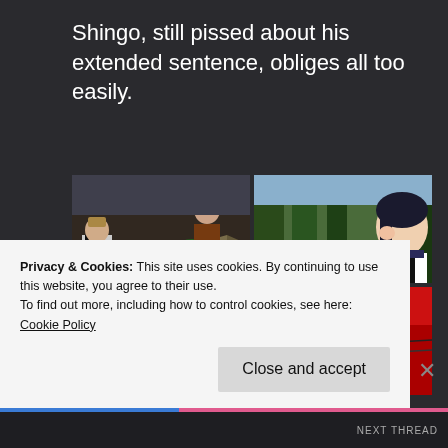Shingo, still pissed about his extended sentence, obliges all too easily.
[Figure (illustration): Four-panel anime screenshot grid showing scenes from a prison anime: top-left shows characters eating at a table with food, top-right shows a female character with dark hair thinking, bottom-left shows a character in prison uniform falling or fighting outside a building, bottom-right shows an action scene with red background and characters fighting.]
Privacy & Cookies: This site uses cookies. By continuing to use this website, you agree to their use.
To find out more, including how to control cookies, see here: Cookie Policy
Close and accept